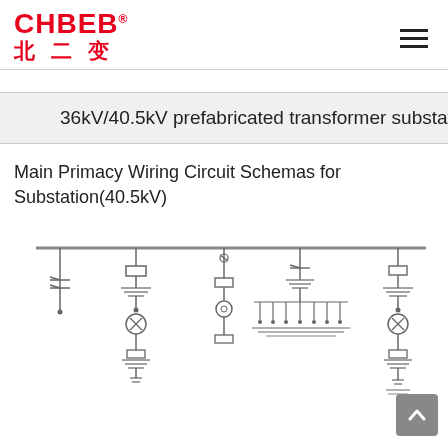CHBEB® 北二变
36kV/40.5kV prefabricated transformer substation
Main Primacy Wiring Circuit Schemas for Substation(40.5kV)
[Figure (schematic): Main primary wiring circuit schematic diagram for 40.5kV substation showing busbar with multiple feeder circuits including disconnectors, circuit breakers, transformers, current transformers, voltage transformers, and capacitor banks connected to a horizontal busbar.]